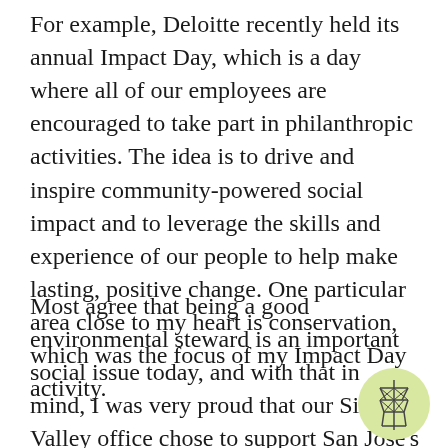For example, Deloitte recently held its annual Impact Day, which is a day where all of our employees are encouraged to take part in philanthropic activities. The idea is to drive and inspire community-powered social impact and to leverage the skills and experience of our people to help make lasting, positive change. One particular area close to my heart is conservation, which was the focus of my Impact Day activity.
Most agree that being a good environmental steward is an important social issue today, and with that in mind, I was very proud that our Silicon Valley office chose to support San Jose's Guadalupe River Park Conservancy through both financial means and hands-on volunteerism as part of Impact Day.
[Figure (logo): A circular logo with a light yellow-green background containing a simple line-art illustration of an electricity transmission tower (pylon).]